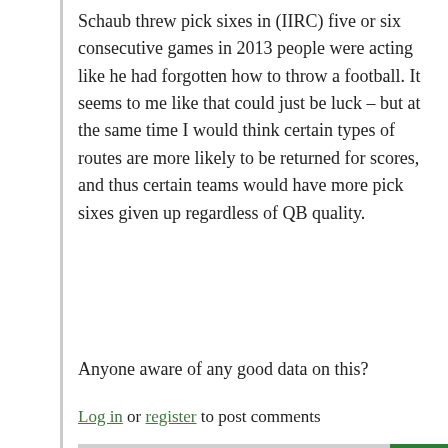Schaub threw pick sixes in (IIRC) five or six consecutive games in 2013 people were acting like he had forgotten how to throw a football. It seems to me like that could just be luck – but at the same time I would think certain types of routes are more likely to be returned for scores, and thus certain teams would have more pick sixes given up regardless of QB quality.
Anyone aware of any good data on this?
Log in or register to post comments
18   No data, just conjecture ...
by ChrisS // Jan 22, 2022 - 6:16pm
No data, just conjecture (which is so much